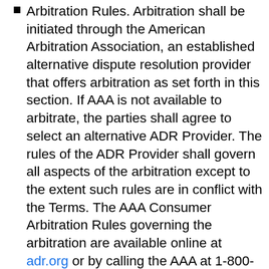Arbitration Rules. Arbitration shall be initiated through the American Arbitration Association, an established alternative dispute resolution provider that offers arbitration as set forth in this section. If AAA is not available to arbitrate, the parties shall agree to select an alternative ADR Provider. The rules of the ADR Provider shall govern all aspects of the arbitration except to the extent such rules are in conflict with the Terms. The AAA Consumer Arbitration Rules governing the arbitration are available online at adr.org or by calling the AAA at 1-800-778-7879.